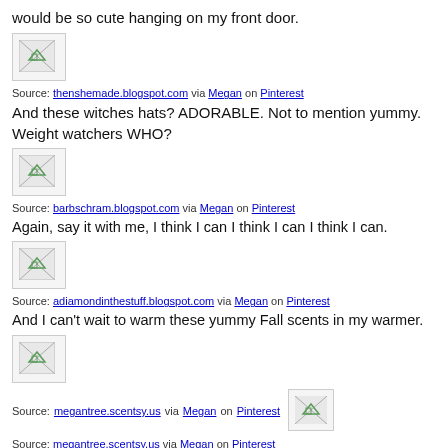would be so cute hanging on my front door.
[Figure (photo): Broken/placeholder image]
Source: thenshemade.blogspot.com via Megan on Pinterest
And these witches hats? ADORABLE. Not to mention yummy. Weight watchers WHO?
[Figure (photo): Broken/placeholder image]
Source: barbschram.blogspot.com via Megan on Pinterest
Again, say it with me, I think I can I think I can I think I can.
[Figure (photo): Broken/placeholder image]
Source: adiamondinthestuff.blogspot.com via Megan on Pinterest
And I can't wait to warm these yummy Fall scents in my warmer.
[Figure (photo): Broken/placeholder image]
Source: megantree.scentsy.us via Megan on Pinterest
[Figure (photo): Broken/placeholder image]
Source: megantree.scentsy.us via Megan on Pinterest